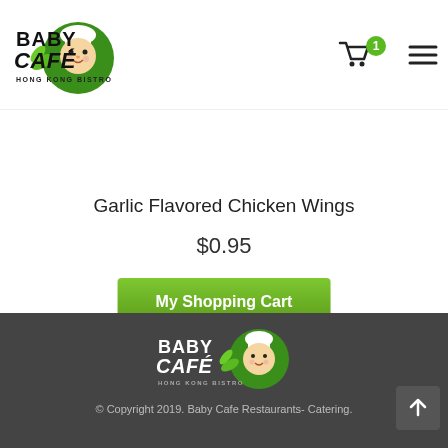Baby Cafe Hong Kong Bistro — navigation header with logo, cart icon, and menu icon
[Figure (photo): Partial image of garlic flavored chicken wings at the top of the product section, with a green shopping cart button overlay on the right side]
Garlic Flavored Chicken Wings
$0.95
My Shopping Cart
[Figure (logo): Baby Cafe Hong Kong Bistro logo in white text on dark footer background]
© Copyright 2019. Baby Cafe Restaurants- Catering.